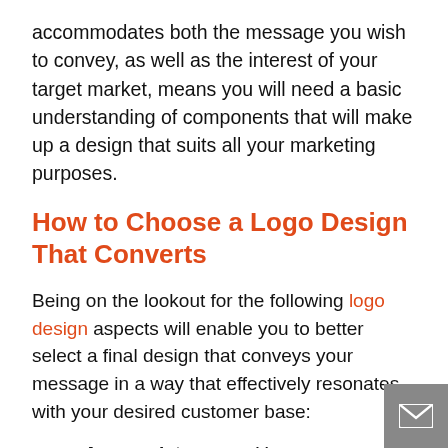accommodates both the message you wish to convey, as well as the interest of your target market, means you will need a basic understanding of components that will make up a design that suits all your marketing purposes.
How to Choose a Logo Design That Converts
Being on the lookout for the following logo design aspects will enable you to better select a final design that conveys your message in a way that effectively resonates with your desired customer base:
Appropriateness – Your company logo design should convey the ambience of the type of business you are selling; i.e., a wine shop would not choose a baby bottle as part of their logo graphics.
Simplicity – If your logo design is over-